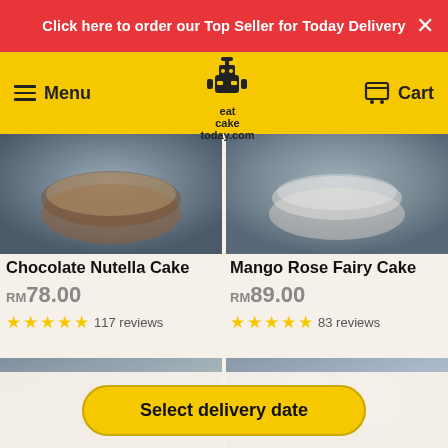Click here to order our Top Seller for Today Delivery
Menu | eatcaketoday.com | Cart
[Figure (photo): Chocolate Nutella Cake product photo, top-down view of a frosted cake on dark background]
Chocolate Nutella Cake
RM78.00
117 reviews (5 stars)
[Figure (photo): Mango Rose Fairy Cake product photo, top-down view on dark background]
Mango Rose Fairy Cake
RM89.00
83 reviews (5 stars)
[Figure (photo): Second row left product photo, blurred cake item]
[Figure (photo): Second row right product photo, cake with angel wings and Happy Birthday topper]
Select delivery date